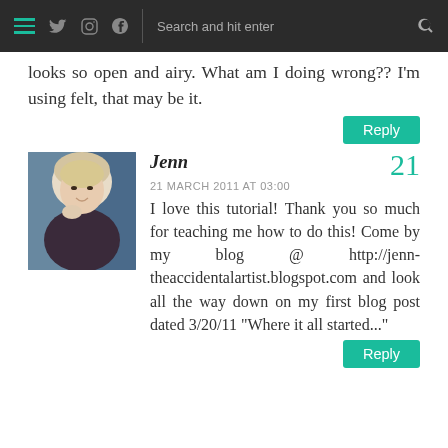Navigation bar with hamburger menu, social icons (Twitter, Instagram, Pinterest), search bar
looks so open and airy. What am I doing wrong?? I'm using felt, that may be it.
Reply
[Figure (photo): Avatar photo of Jenn — a woman with short blonde hair]
Jenn
21 MARCH 2011 AT 03:00
21
I love this tutorial! Thank you so much for teaching me how to do this! Come by my blog @ http://jenn-theaccidentalartist.blogspot.com and look all the way down on my first blog post dated 3/20/11 "Where it all started..."
Reply